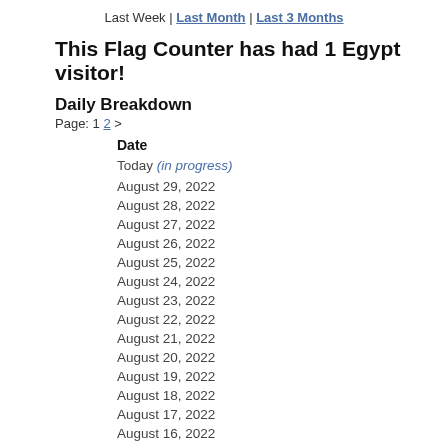Last Week | Last Month | Last 3 Months
This Flag Counter has had 1 Egypt visitor!
Daily Breakdown
Page: 1 2 >
| Date | EG Vi |
| --- | --- |
| Today (in progress) | 0* |
| August 29, 2022 | 0 |
| August 28, 2022 | 0 |
| August 27, 2022 | 0 |
| August 26, 2022 | 0 |
| August 25, 2022 | 0 |
| August 24, 2022 | 0 |
| August 23, 2022 | 0 |
| August 22, 2022 | 0 |
| August 21, 2022 | 0 |
| August 20, 2022 | 0 |
| August 19, 2022 | 0 |
| August 18, 2022 | 0 |
| August 17, 2022 | 0 |
| August 16, 2022 | 0 |
| August 15, 2022 | 0 |